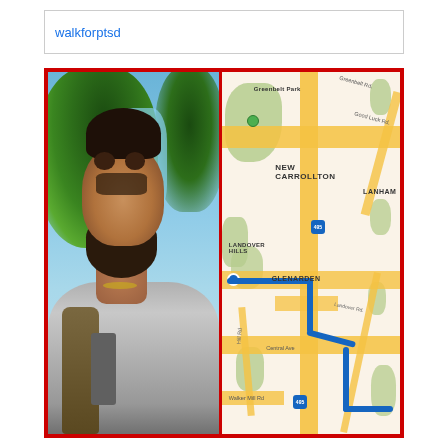walkforptsd
[Figure (photo): Split image: left side shows a selfie of a bearded man with short dark hair wearing a gray t-shirt and backpack with an American flag visible behind him and trees in the background; right side shows a Google Maps view of the New Carrollton/Landover Hills/Glenarden area in Maryland with a blue route line traced through it.]